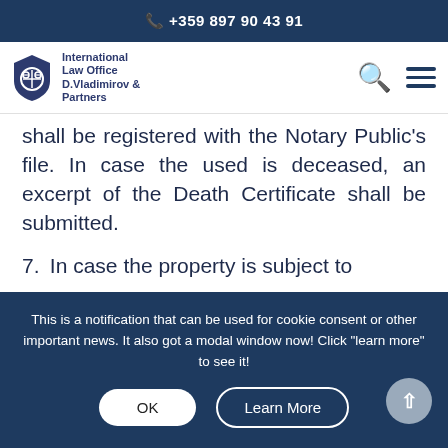+359 897 90 43 91
[Figure (logo): International Law Office D.Vladimirov & Partners shield logo with scales of justice]
shall be registered with the Notary Public's file. In case the used is deceased, an excerpt of the Death Certificate shall be submitted.
7. In case the property is subject to
This is a notification that can be used for cookie consent or other important news. It also got a modal window now! Click "learn more" to see it!